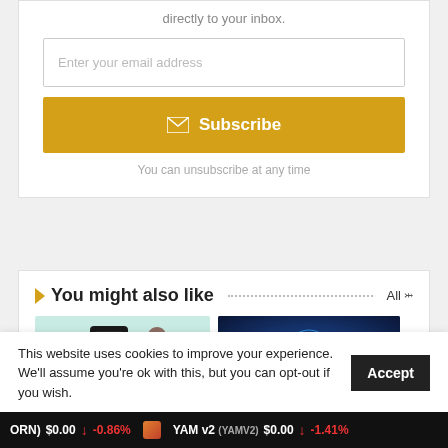directly to your inbox.
Enter your email address
Subscribe
You can unsubscribe at any time
You might also like
[Figure (photo): Thumbnail images of articles: a device on teal background, a pixel character on grey background, and a tech-themed blue image]
This website uses cookies to improve your experience. We'll assume you're ok with this, but you can opt-out if you wish.
Accept
ORN) $0.00 ↓ -0.86%   YAM v2 (YAMV2) $0.00 ↓ -1.41%